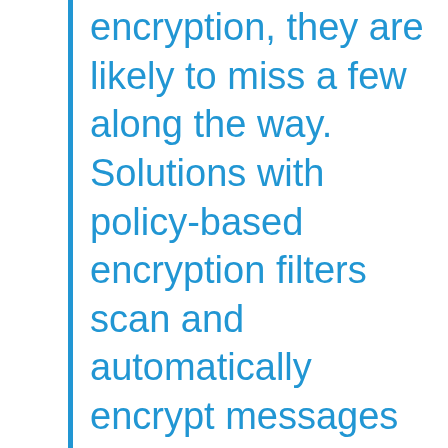encryption, they are likely to miss a few along the way. Solutions with policy-based encryption filters scan and automatically encrypt messages that contain sensitive information. The best solutions provide standard heuristics for common regulatory requirements and let you create custom policies to meet your business' specific needs.
2) Is the solution easy to use?
This site uses cookies. By continuing to browse the site, you are agreeing to our use of cookies.
Email is a business tool, and Email encryp... ...y, the